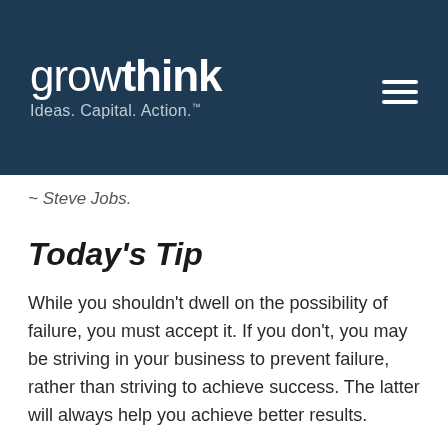growthink Ideas. Capital. Action.™
~ Steve Jobs.
Today's Tip
While you shouldn't dwell on the possibility of failure, you must accept it. If you don't, you may be striving in your business to prevent failure, rather than striving to achieve success. The latter will always help you achieve better results.
It turns out that actual failure is never as bad as we think it will be. Specifically, research shows